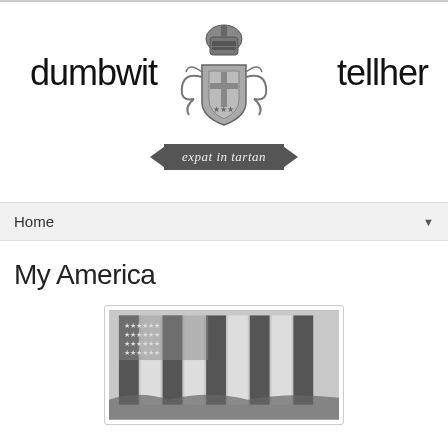dumbwit tellher — expat in tartan
Home ▼
My America
[Figure (photo): Black and white photograph of an American flag displayed outdoors, showing stripes and stars, with trees visible in the background.]